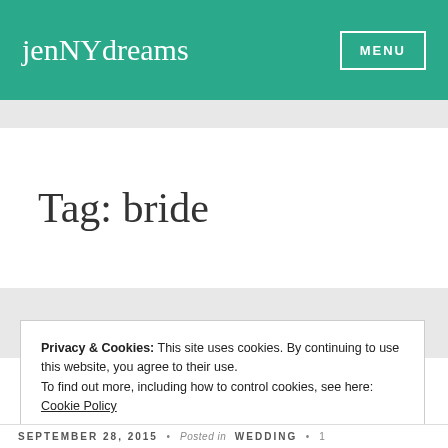jenNYdreams  MENU
Tag: bride
Privacy & Cookies: This site uses cookies. By continuing to use this website, you agree to their use.
To find out more, including how to control cookies, see here: Cookie Policy
Close and accept
SEPTEMBER 28, 2015  •  Posted in  WEDDING  •  1